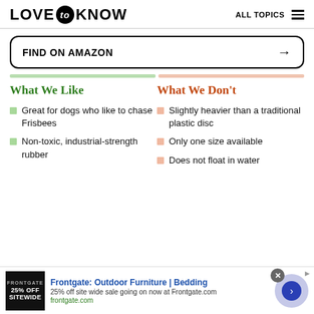LOVE to KNOW  ALL TOPICS
FIND ON AMAZON →
What We Like
What We Don't
Great for dogs who like to chase Frisbees
Slightly heavier than a traditional plastic disc
Non-toxic, industrial-strength rubber
Only one size available
Does not float in water
Frontgate: Outdoor Furniture | Bedding  25% off site wide sale going on now at Frontgate.com  frontgate.com